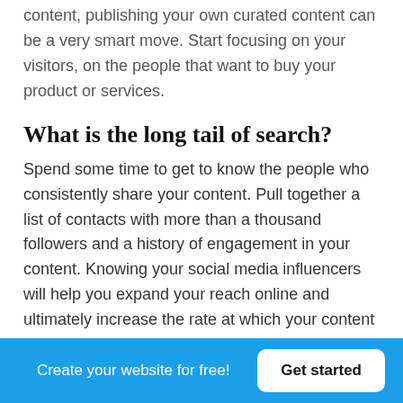Because Google links sites that link out to good quality content, publishing your own curated content can be a very smart move. Start focusing on your visitors, on the people that want to buy your product or services.
What is the long tail of search?
Spend some time to get to know the people who consistently share your content. Pull together a list of contacts with more than a thousand followers and a history of engagement in your content. Knowing your social media influencers will help you expand your reach online and ultimately increase the rate at which your content gets found online. One of my firm beliefs is that Google is becoming more and more 'human,' and should be treated that way. This means that in all your SEO efforts, you should consider the
Create your website for free!  Get started